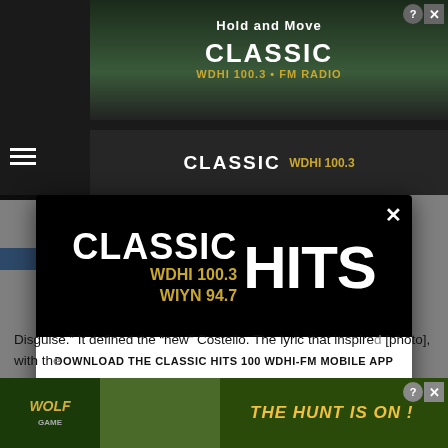[Figure (screenshot): Screenshot of a website with a modal popup for Classic Hits 100 WDHI-FM radio station mobile app download prompt. Background shows a radio station website with a top advertisement banner and article text. A modal dialog overlays the page with the Classic Hits WDHI 100.3 / WIYN 94.7 logo on a black background, and below it a white section with text 'DOWNLOAD THE CLASSIC HITS 100 WDHI-FM MOBILE APP' and a gold button 'GET OUR FREE MOBILE APP'. The bottom shows partial article text and a Wolf Game advertisement banner.]
Disguise.” It defined the “new” Costello. The lyric that inspired [photo], with th[e]
DOWNLOAD THE CLASSIC HITS 100 WDHI-FM MOBILE APP
GET OUR FREE MOBILE APP
CLASSIC HITS
WDHI 100.3
WIYN 94.7
THE HUNT IS ON !